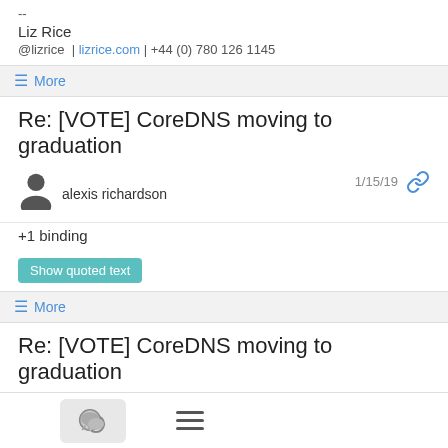--
Liz Rice
@lizrice  |  lizrice.com  |  +44 (0) 780 126 1145
≡ More
Re: [VOTE] CoreDNS moving to graduation
alexis richardson
1/15/19
+1 binding
Show quoted text
≡ More
Re: [VOTE] CoreDNS moving to graduation